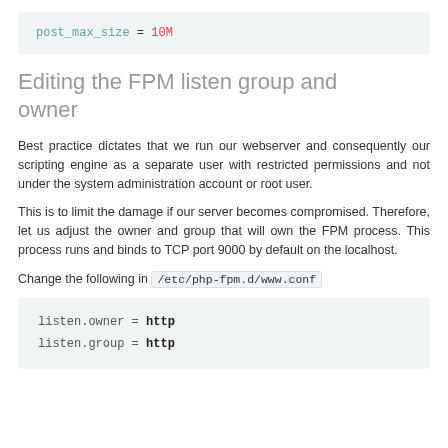post_max_size = 10M
Editing the FPM listen group and owner
Best practice dictates that we run our webserver and consequently our scripting engine as a separate user with restricted permissions and not under the system administration account or root user.
This is to limit the damage if our server becomes compromised. Therefore, let us adjust the owner and group that will own the FPM process. This process runs and binds to TCP port 9000 by default on the localhost.
Change the following in /etc/php-fpm.d/www.conf
listen.owner = http
listen.group = http